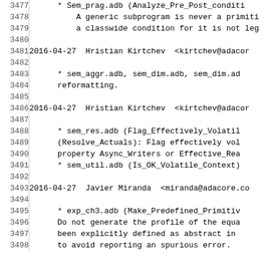3477  * Sem_prag.adb (Analyze_Pre_Post_Condi...
3478       A generic subprogram is never a primiti...
3479       a classwide condition for it is not leg...
3480
3481  2016-04-27  Hristian Kirtchev  <kirtchev@adacor...
3482
3483       * sem_aggr.adb, sem_dim.adb, sem_dim.ad...
3484       reformatting.
3485
3486  2016-04-27  Hristian Kirtchev  <kirtchev@adacor...
3487
3488       * sem_res.adb (Flag_Effectively_Volatil...
3489       (Resolve_Actuals): Flag effectively vol...
3490       property Async_Writers or Effective_Rea...
3491       * sem_util.adb (Is_OK_Volatile_Context)...
3492
3493  2016-04-27  Javier Miranda  <miranda@adacore.co...
3494
3495       * exp_ch3.adb (Make_Predefined_Primitiv...
3496       Do not generate the profile of the equa...
3497       been explicitly defined as abstract in ...
3498       to avoid reporting an spurious error.